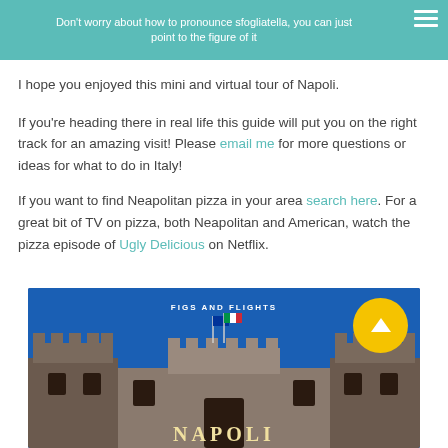Don't worry about how to pronounce sfogliatella, you can just point to the figure of it
I hope you enjoyed this mini and virtual tour of Napoli.
If you're heading there in real life this guide will put you on the right track for an amazing visit! Please email me for more questions or ideas for what to do in Italy!
If you want to find Neapolitan pizza in your area search here. For a great bit of TV on pizza, both Neapolitan and American, watch the pizza episode of Ugly Delicious on Netflix.
[Figure (photo): Photo of Castel Nuovo (Maschio Angioino) in Naples with a blue sky background, overlaid with 'FIGS AND FLIGHTS' text and 'NAPOLI' text, with a yellow circle arrow button in the top right]